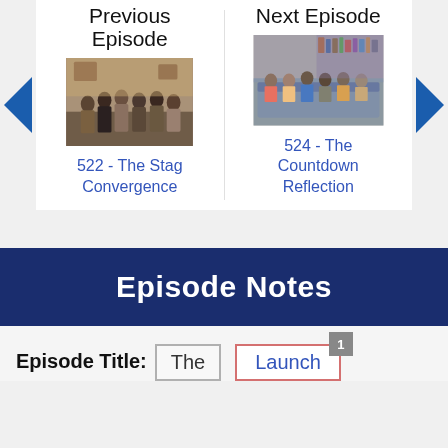Previous Episode
[Figure (photo): Group of men standing in a living room at a party]
522 - The Stag Convergence
Next Episode
[Figure (photo): Group of people sitting on couches in an apartment]
524 - The Countdown Reflection
Episode Notes
Episode Title:
The
Launch